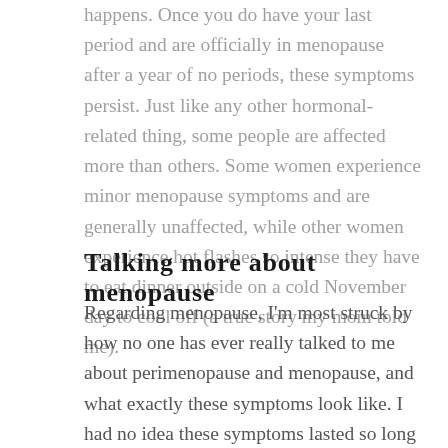happens. Once you do have your last period and are officially in menopause after a year of no periods, these symptoms persist. Just like any other hormonal-related thing, some people are affected more than others. Some women experience minor menopause symptoms and are generally unaffected, while other women experience hot flashes so intense they have to eat dinner outside on a cold November day to cool off (a true story my mom told me).
Talking more about menopause
Regarding menopause, I'm most struck by how no one has ever really talked to me about perimenopause and menopause, and what exactly these symptoms look like. I had no idea these symptoms lasted so long and could carry on way past your last period. From the time I was a kid, I remember hearing all about when I would get my first period and what that would be like, but no one talked